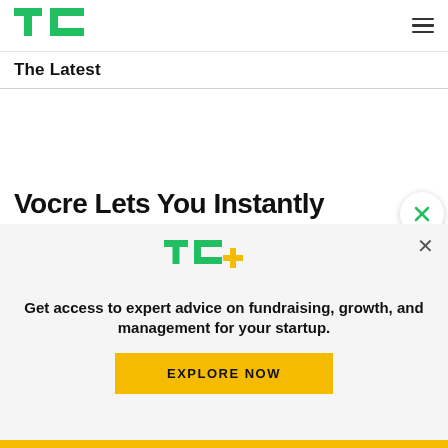TechCrunch - The Latest
The Latest
Vocre Lets You Instantly Converse In Foreign Languages
[Figure (logo): TechCrunch+ logo with green TC letters and yellow plus sign]
Get access to expert advice on fundraising, growth, and management for your startup.
EXPLORE NOW